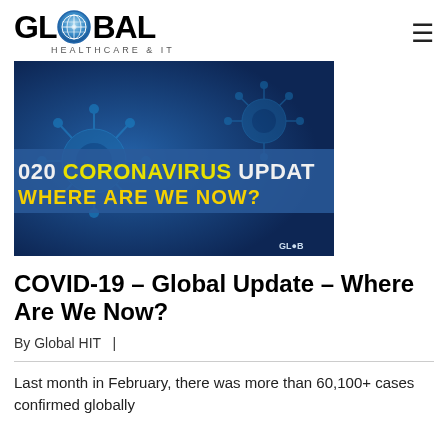GLOBAL HEALTHCARE & IT
[Figure (photo): Blue background with coronavirus particle imagery; overlaid text reads '2020 CORONAVIRUS UPDATE' in white and 'WHERE ARE WE NOW?' in yellow. Small 'GLOBAL HIT' watermark in bottom right corner.]
COVID-19 – Global Update – Where Are We Now?
By Global HIT   |
Last month in February, there was more than 60,100+ cases confirmed globally